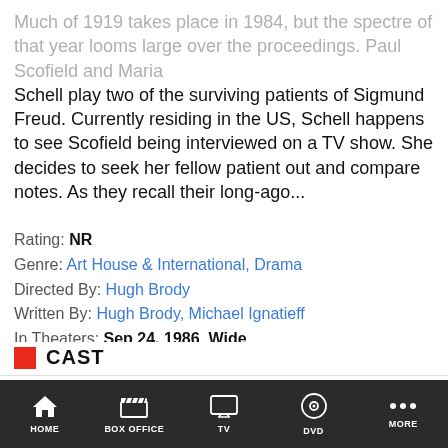Much of 1919 takes place in 1984, but the spectre of that year looms large over the proceedings. Paul Scofield and Maria Schell play two of the surviving patients of Sigmund Freud. Currently residing in the US, Schell happens to see Scofield being interviewed on a TV show. She decides to seek her fellow patient out and compare notes. As they recall their long-ago...
Rating: NR
Genre: Art House & International, Drama
Directed By: Hugh Brody
Written By: Hugh Brody, Michael Ignatieff
In Theaters: Sep 24, 1986  Wide
Runtime: 99 minutes
CAST
[Figure (photo): Placeholder image for Paul Scofield actor photo]
Paul Scofield
as Alexander Scherbatov
HOME   BOX OFFICE   TV   DVD   MORE